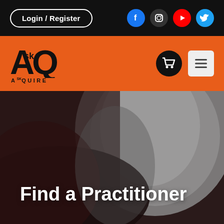Login / Register
[Figure (logo): AskQuire logo on orange navigation bar with shopping cart and menu icons]
[Figure (photo): Dark blurred background photo of a person, half dark brown half grey]
Find a Practitioner